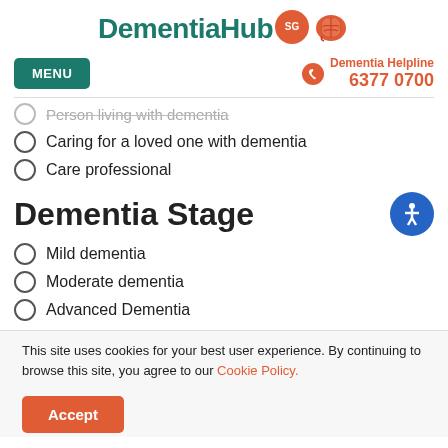DementiaHub SG
MENU | Dementia Helpline 6377 0700
Person living with dementia (truncated)
Caring for a loved one with dementia
Care professional
Dementia Stage
Mild dementia
Moderate dementia
Advanced Dementia
This site uses cookies for your best user experience. By continuing to browse this site, you agree to our Cookie Policy.
Accept